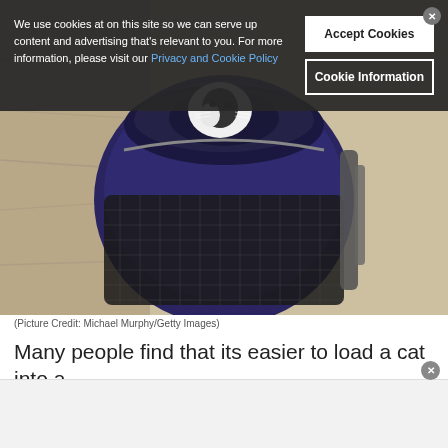[Figure (photo): A black and white cat sitting inside a purple/navy blue pet carrier backpack with mesh panels, photographed on a stone surface]
We use cookies at on this site so we can serve up content and advertising that's relevant to you. For more information, please visit our Privacy and Cookie Policy
(Picture Credit: Michael Murphy/Getty Images)
Many people find that its easier to load a cat into a